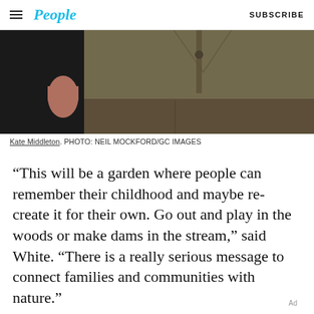People | SUBSCRIBE
[Figure (photo): Cropped photo showing a person in a tweed jacket and dark trousers standing outdoors, with another person partially visible on the left and a stone or textured wall on the right. The photo is cropped at the torso level.]
Kate Middleton. PHOTO: NEIL MOCKFORD/GC IMAGES
“This will be a garden where people can remember their childhood and maybe re-create it for their own. Go out and play in the woods or make dams in the stream,” said White. “There is a really serious message to connect families and communities with nature.”